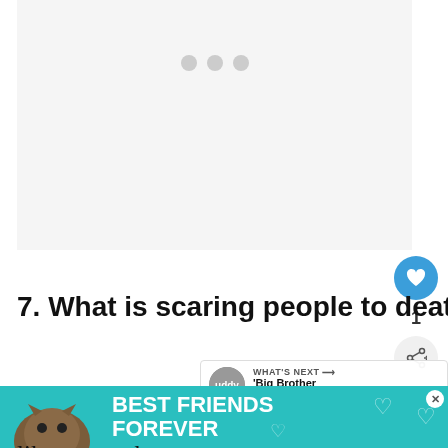[Figure (other): Gray placeholder ad area with three dots loading indicator]
[Figure (other): Blue circular like/heart button]
1
[Figure (other): Share button (circle with share icon)]
7. What is scaring people to death?
[Figure (other): What's Next bar with Buddy TV icon and text: 'Big Brother 15' Spoilers:....]
Caleb finally found a family member man Rivers, whose brother Caleb looked just like he… he… he…rns
[Figure (other): Bottom advertisement banner: cat photo, BEST FRIENDS FOREVER text on teal background, with hearts, close button]